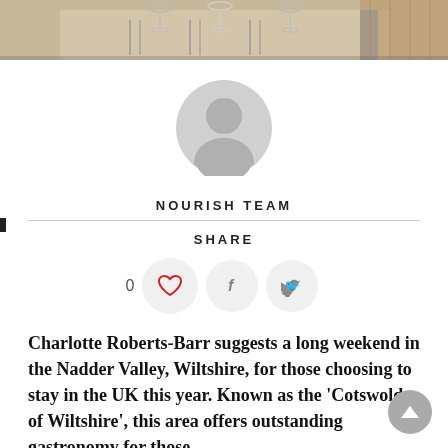[Figure (photo): Top portion of a restaurant/dining scene showing a table set with glasses, cutlery and place settings with a wooden floor visible]
[Figure (illustration): Gray circular avatar/profile placeholder icon showing a silhouette of a person]
NOURISH TEAM
SHARE
0
Charlotte Roberts-Barr suggests a long weekend in the Nadder Valley, Wiltshire, for those choosing to stay in the UK this year. Known as the 'Cotswolds of Wiltshire', this area offers outstanding gastronomy for those...